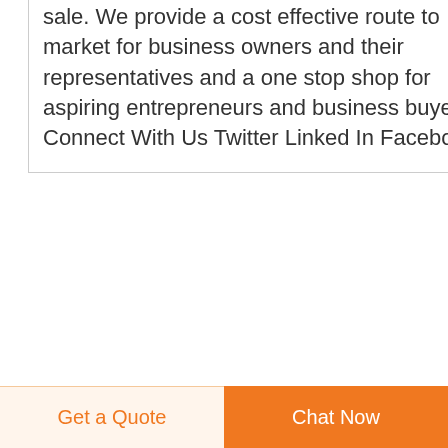sale. We provide a cost effective route to market for business owners and their representatives and a one stop shop for aspiring entrepreneurs and business buyers. Connect With Us Twitter Linked In Facebook
[Figure (photo): Small thumbnail image of an enteral feeding pump infusion pump product on a blue background]
enteral feeding pump infusion pumpalibaba
Discover premium enteral feeding pump infusion pump on Alibaba at amazing discounts and offers. The
[Figure (other): Dark navy blue circular scroll-to-top button with a white upward arrow icon]
Get a Quote
Chat Now